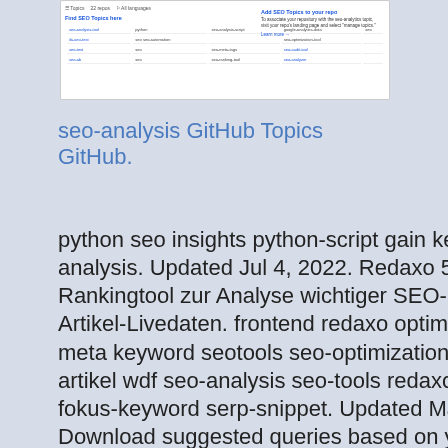[Figure (screenshot): Screenshot of a GitHub SEO analysis topics page showing a table of repositories with columns and a right panel with descriptive text about API inputs.]
seo-analysis GitHub Topics GitHub.
python seo insights python-script gain keyword seo-analysis. Updated Jul 4, 2022. Redaxo 5 Addon: SEO-Rankingtool zur Analyse wichtiger SEO-Kriterien der Artikel-Livedaten. frontend redaxo optimization seo seo-meta keyword seotools seo-optimization redaxo-addon artikel wdf seo-analysis seo-tools redaxo5 seo-plugin fokus-keyword serp-snippet. Updated May 9, 2022. Download suggested queries based on your input generated by Google Suggest API. r api-wrapper rstats google-suggestions seo-analysis rstats-package. Updated May 9, 2021. R package that serves as an interface for interaction with the Ahrefs.com API. api r api-